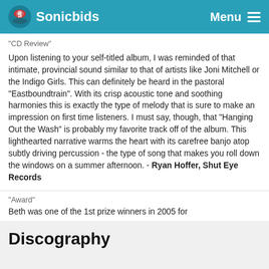Sonicbids  Menu
"CD Review"
Upon listening to your self-titled album, I was reminded of that intimate, provincial sound similar to that of artists like Joni Mitchell or the Indigo Girls. This can definitely be heard in the pastoral "Eastboundtrain". With its crisp acoustic tone and soothing harmonies this is exactly the type of melody that is sure to make an impression on first time listeners. I must say, though, that "Hanging Out the Wash" is probably my favorite track off of the album. This lighthearted narrative warms the heart with its carefree banjo atop subtly driving percussion - the type of song that makes you roll down the windows on a summer afternoon. - Ryan Hoffer, Shut Eye Records
"Award"
Beth was one of the 1st prize winners in 2005 for
Discography